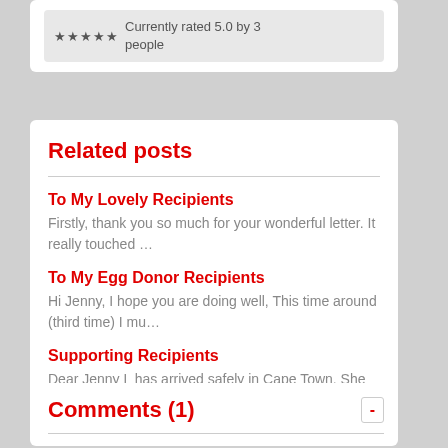Currently rated 5.0 by 3 people ★★★★★
Related posts
To My Lovely Recipients
Firstly, thank you so much for your wonderful letter.  It really touched …
To My Egg Donor Recipients
Hi Jenny, I hope you are doing well, This time around (third time) I mu…
Supporting Recipients
Dear Jenny L has arrived safely in Cape Town.  She went in this morn…
Comments (1)